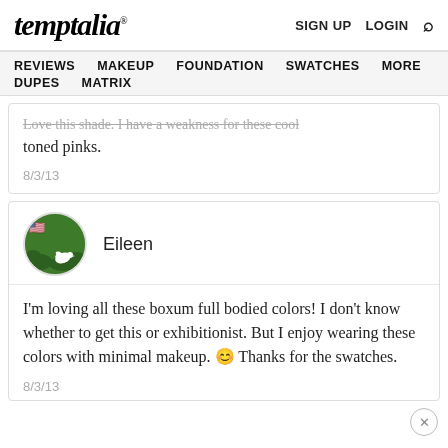temptalia® | SIGN UP  LOGIN  🔍
REVIEWS  MAKEUP  FOUNDATION  SWATCHES  MORE  DUPES  MATRIX
Love this shade. I have a weakness for these cool toned pinks.

8/3/13
Eileen
I'm loving all these boxum full bodied colors! I don't know whether to get this or exhibitionist. But I enjoy wearing these colors with minimal makeup. 😊 Thanks for the swatches.
8/3/13